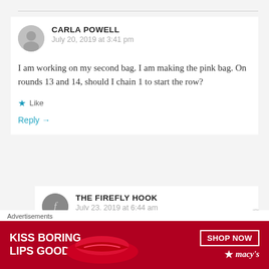CARLA POWELL
July 20, 2019 at 3:41 pm
I am working on my second bag. I am making the pink bag. On rounds 13 and 14, should I chain 1 to start the row?
Like
Reply →
THE FIREFLY HOOK
July 23, 2019 at 6:44 am
Advertisements
[Figure (illustration): Macy's advertisement banner with red background showing 'KISS BORING LIPS GOODBYE' text with SHOP NOW button and Macy's star logo]